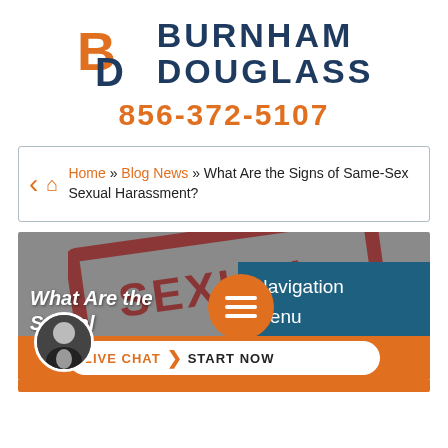[Figure (logo): Burnham Douglass law firm logo with orange and navy BD letters and firm name]
856-372-5107
Home » Blog News » What Are the Signs of Same-Sex Sexual Harassment?
[Figure (screenshot): Hero banner with 'What Are the Signs of Same-Sex Sexual Harassment?' title text, a red stamp overlay, hamburger navigation menu button (orange circle), Navigation Menu panel (blue), live chat bar at bottom with attorney avatar]